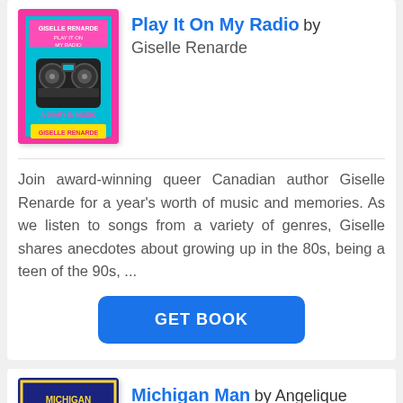[Figure (illustration): Book cover for 'Play It On My Radio' by Giselle Renarde, featuring colorful retro boombox art on pink/teal background]
Play It On My Radio by Giselle Renarde
Join award-winning queer Canadian author Giselle Renarde for a year's worth of music and memories. As we listen to songs from a variety of genres, Giselle shares anecdotes about growing up in the 80s, being a teen of the 90s, ...
GET BOOK
[Figure (illustration): Book cover for 'Michigan Man' with dark navy background and yellow/gold text]
Michigan Man by Angelique